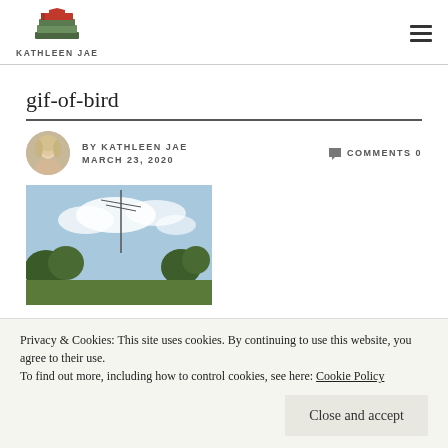KATHLEEN JAE
gif-of-bird
BY KATHLEEN JAE  MARCH 23, 2020  COMMENTS 0
[Figure (photo): Outdoor photo showing sky with clouds and trees with an antenna/pole visible]
Privacy & Cookies: This site uses cookies. By continuing to use this website, you agree to their use.
To find out more, including how to control cookies, see here: Cookie Policy
Close and accept